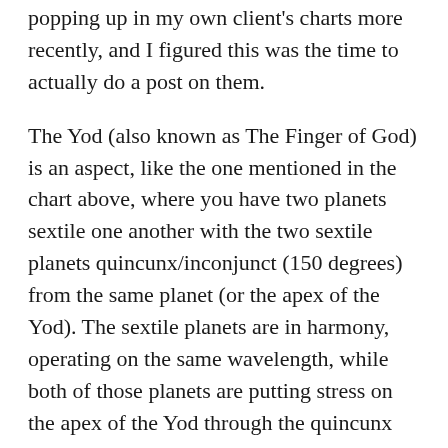popping up in my own client's charts more recently, and I figured this was the time to actually do a post on them.
The Yod (also known as The Finger of God) is an aspect, like the one mentioned in the chart above, where you have two planets sextile one another with the two sextile planets quincunx/inconjunct (150 degrees) from the same planet (or the apex of the Yod). The sextile planets are in harmony, operating on the same wavelength, while both of those planets are putting stress on the apex of the Yod through the quincunx aspects. While the sextile is harmonious, usually until the Yod is worked through the sextile may operate at the lower end vibrationally (i.e.: exhibiting the least desirable traits of the sextile in question) due to the quincunx stress.
To understand what a Yod is, I suppose you need to